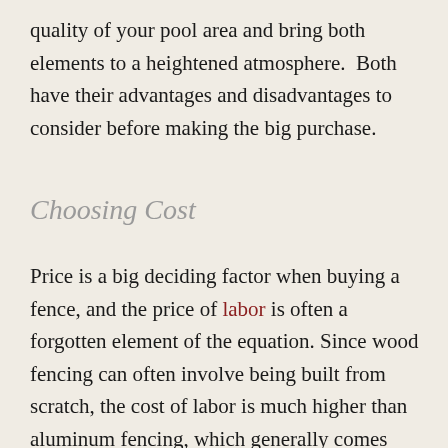quality of your pool area and bring both elements to a heightened atmosphere.  Both have their advantages and disadvantages to consider before making the big purchase.
Choosing Cost
Price is a big deciding factor when buying a fence, and the price of labor is often a forgotten element of the equation. Since wood fencing can often involve being built from scratch, the cost of labor is much higher than aluminum fencing, which generally comes pre-built and segmented. While the